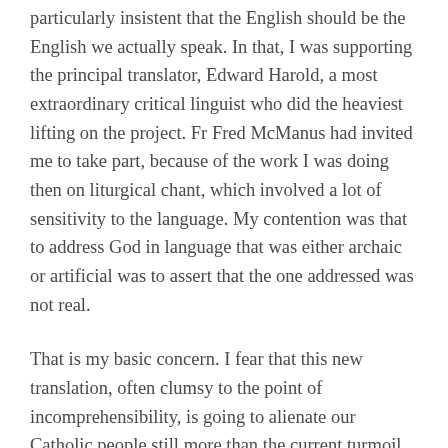particularly insistent that the English should be the English we actually speak. In that, I was supporting the principal translator, Edward Harold, a most extraordinary critical linguist who did the heaviest lifting on the project. Fr Fred McManus had invited me to take part, because of the work I was doing then on liturgical chant, which involved a lot of sensitivity to the language. My contention was that to address God in language that was either archaic or artificial was to assert that the one addressed was not real.
That is my basic concern. I fear that this new translation, often clumsy to the point of incomprehensibility, is going to alienate our Catholic people still more than the current turmoil has already done, discouraging Mass participation by making the language opaque. Even now, despite this latest translation having been given official approval, or recognitio, it appears that there have since been yet more changes, with, as Alan Griffiths warned in